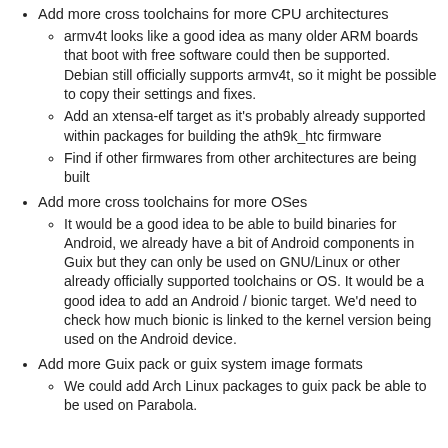Add more cross toolchains for more CPU architectures
armv4t looks like a good idea as many older ARM boards that boot with free software could then be supported. Debian still officially supports armv4t, so it might be possible to copy their settings and fixes.
Add an xtensa-elf target as it's probably already supported within packages for building the ath9k_htc firmware
Find if other firmwares from other architectures are being built
Add more cross toolchains for more OSes
It would be a good idea to be able to build binaries for Android, we already have a bit of Android components in Guix but they can only be used on GNU/Linux or other already officially supported toolchains or OS. It would be a good idea to add an Android / bionic target. We'd need to check how much bionic is linked to the kernel version being used on the Android device.
Add more Guix pack or guix system image formats
We could add Arch Linux packages to guix pack be able to be used on Parabola.